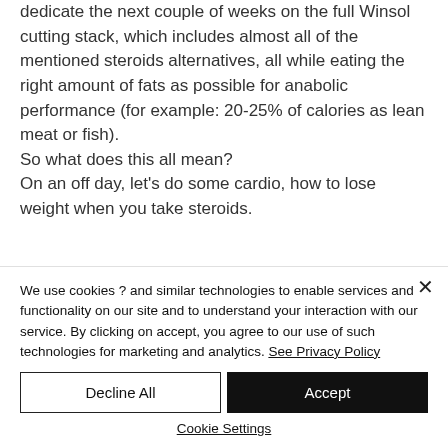dedicate the next couple of weeks on the full Winsol cutting stack, which includes almost all of the mentioned steroids alternatives, all while eating the right amount of fats as possible for anabolic performance (for example: 20-25% of calories as lean meat or fish).
So what does this all mean?
On an off day, let's do some cardio, how to lose weight when you take steroids.
We use cookies ? and similar technologies to enable services and functionality on our site and to understand your interaction with our service. By clicking on accept, you agree to our use of such technologies for marketing and analytics. See Privacy Policy
Decline All
Accept
Cookie Settings